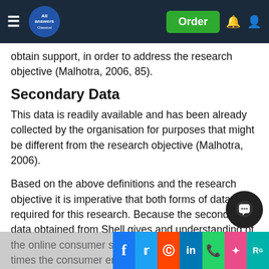All Answers — navbar with Order button
obtain support, in order to address the research objective (Malhotra, 2006, 85).
Secondary Data
This data is readily available and has been already collected by the organisation for purposes that might be different from the research objective (Malhotra, 2006).
Based on the above definitions and the research objective it is imperative that both forms of data are required for this research. Because the secondary data obtained from Shell gives and understanding of the online consumer statistics such as number of times the consumer engaged with promotional on the Shell website and the number of consumers engaged with the promotion on external websites s...ndary data from ...redemption